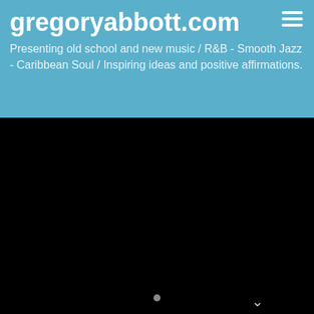gregoryabbott.com
Presenting old school and new music / R&B - Smooth Jazz - Caribbean Soul / Inspiring ideas and positive affirmations.
[Figure (screenshot): Black video player area embedded in dark background]
gregoryabbott · Chill (featuring Gerald Albright)
[Figure (screenshot): SoundCloud player embed showing Gregory Abbott : Chill track with orange play button, SmoothJazz.com Global label, SOUNDCLOUD branding, download and share buttons, and colorful album art background]